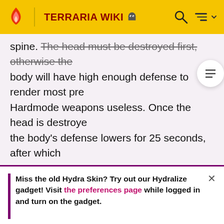TERRARIA WIKI
spine. The head must be destroyed first, otherwise the body will have high enough defense to render most pre-Hardmode weapons useless. Once the head is destroyed, the body's defense lowers for 25 seconds, after which more heads grow.
While Turkor the Ungrateful is alive, the music Boss 1 will play.
Miss the old Hydra Skin? Try out our Hydralize gadget! Visit the preferences page while logged in and turn on the gadget.